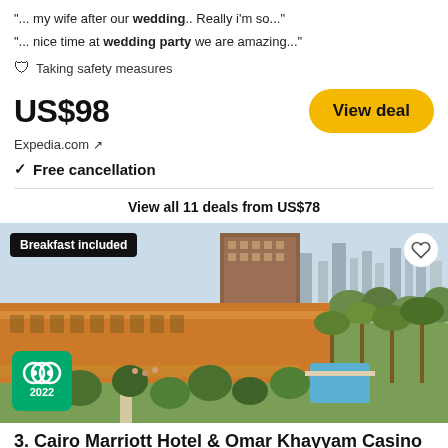"... my wife after our wedding.. Really i'm so..."
"... nice time at wedding party we are amazing..."
🛡 Taking safety measures
US$98
Expedia.com ↗
View deal
✓ Free cancellation
View all 11 deals from US$78
[Figure (photo): Aerial view of Cairo Marriott Hotel & Omar Khayyam Casino showing the hotel buildings, gardens, trees, pool area, and city skyline in background. Breakfast included badge visible.]
3. Cairo Marriott Hotel & Omar Khayyam Casino